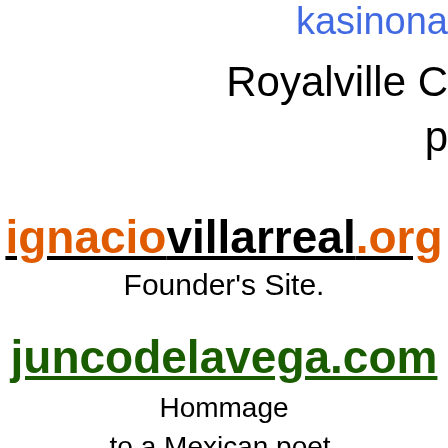kasinona
Royalville C
p
ignaciovillarreal.org
Founder's Site.
juncodelavega.com
Hommage
to a Mexican poet.